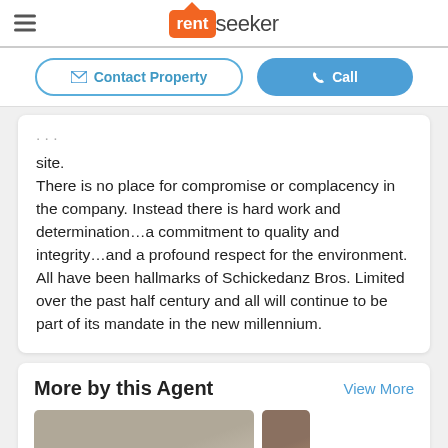[Figure (logo): RentSeeker logo with hamburger menu icon]
[Figure (screenshot): Contact Property and Call buttons]
site.
There is no place for compromise or complacency in the company. Instead there is hard work and determination...a commitment to quality and integrity...and a profound respect for the environment. All have been hallmarks of Schickedanz Bros. Limited over the past half century and all will continue to be part of its mandate in the new millennium.
More by this Agent
[Figure (photo): Property listing thumbnail with PLATINUM LISTING label]